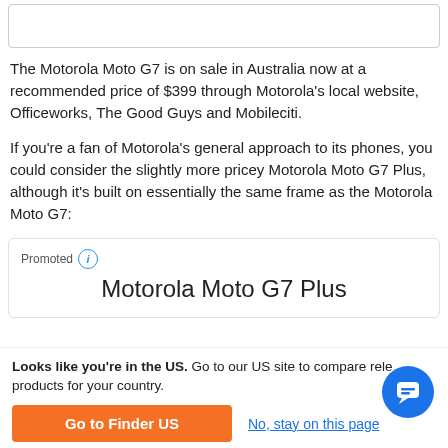[Figure (other): Top image placeholder box (partially visible, cropped at top)]
The Motorola Moto G7 is on sale in Australia now at a recommended price of $399 through Motorola's local website, Officeworks, The Good Guys and Mobileciti.
If you're a fan of Motorola's general approach to its phones, you could consider the slightly more pricey Motorola Moto G7 Plus, although it's built on essentially the same frame as the Motorola Moto G7:
Promoted
Motorola Moto G7 Plus
Looks like you're in the US. Go to our US site to compare rele... products for your country.
Go to Finder US
No, stay on this page